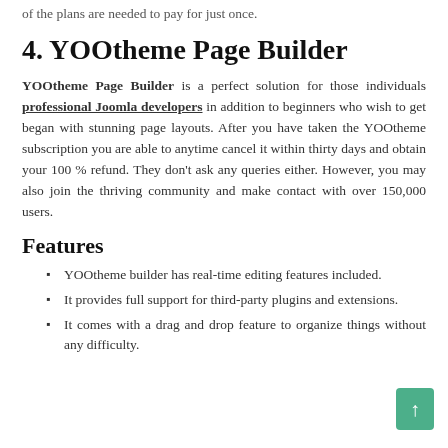of the plans are needed to pay for just once.
4. YOOtheme Page Builder
YOOtheme Page Builder is a perfect solution for those individuals professional Joomla developers in addition to beginners who wish to get began with stunning page layouts. After you have taken the YOOtheme subscription you are able to anytime cancel it within thirty days and obtain your 100 % refund. They don't ask any queries either. However, you may also join the thriving community and make contact with over 150,000 users.
Features
YOOtheme builder has real-time editing features included.
It provides full support for third-party plugins and extensions.
It comes with a drag and drop feature to organize things without any difficulty.